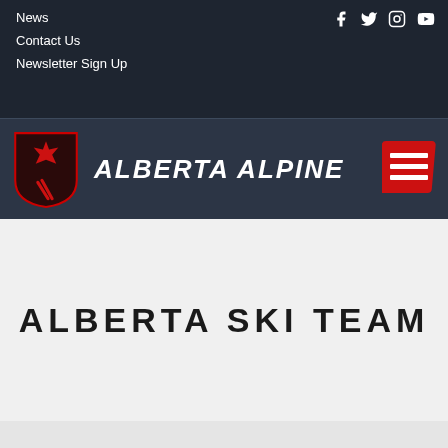News
Contact Us
Newsletter Sign Up
[Figure (logo): Alberta Alpine logo - red maple leaf shield with ski poles and brand name ALBERTA ALPINE in white bold italic text on dark background, with hamburger menu icon on right]
ALBERTA SKI TEAM